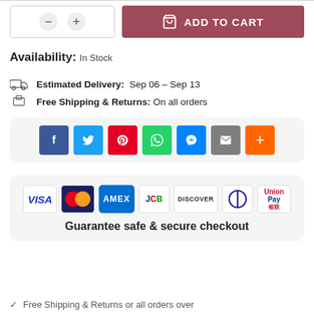[Figure (screenshot): Add to cart button with quantity selector and minus/plus buttons]
Availability: In Stock
Estimated Delivery: Sep 06 – Sep 13
Free Shipping & Returns: On all orders
[Figure (infographic): Social share buttons: Facebook, Twitter, Pinterest, WhatsApp, Messenger, Email, More]
[Figure (infographic): Payment logos: VISA, Mastercard, AMEX, JCB, DISCOVER, Diners, UnionPay. Guarantee safe & secure checkout]
Free Shipping & Returns or all orders over